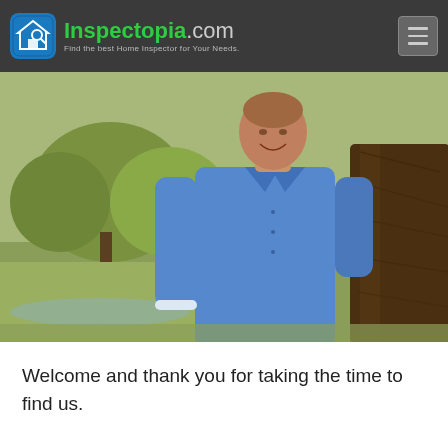Inspectopia.com — Find the best Home Inspector for Your Needs.
[Figure (photo): A man in a blue long-sleeve button-down shirt leaning against a large tree, with trees and a park/field in the background.]
Welcome and thank you for taking the time to find us.